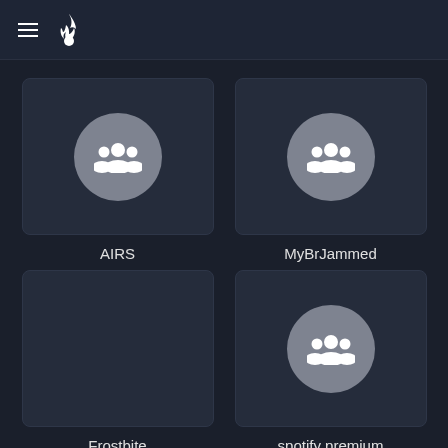Navigation header with hamburger menu and flame icon
[Figure (screenshot): App grid showing four group/channel cards: AIRS, MyBrJammed, Frostbite, spotify premium]
AIRS
MyBrJammed
Frostbite
spotify premium